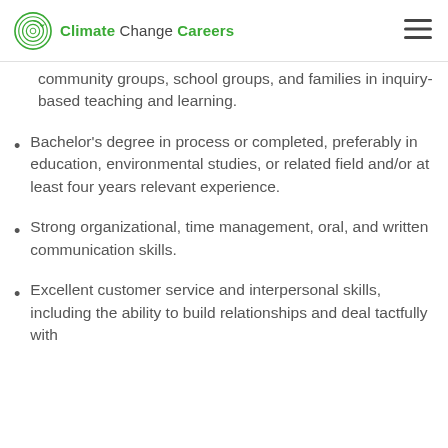Climate Change Careers
community groups, school groups, and families in inquiry-based teaching and learning.
Bachelor's degree in process or completed, preferably in education, environmental studies, or related field and/or at least four years relevant experience.
Strong organizational, time management, oral, and written communication skills.
Excellent customer service and interpersonal skills, including the ability to build relationships and deal tactfully with